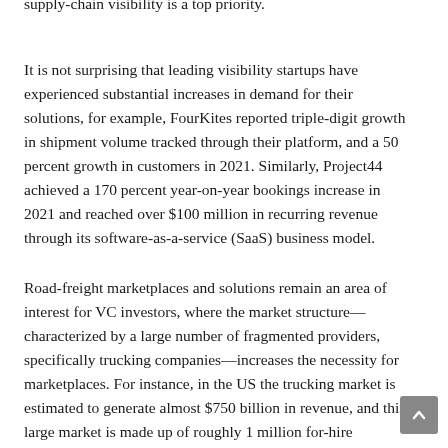supply-chain visibility is a top priority.
It is not surprising that leading visibility startups have experienced substantial increases in demand for their solutions, for example, FourKites reported triple-digit growth in shipment volume tracked through their platform, and a 50 percent growth in customers in 2021. Similarly, Project44 achieved a 170 percent year-on-year bookings increase in 2021 and reached over $100 million in recurring revenue through its software-as-a-service (SaaS) business model.
Road-freight marketplaces and solutions remain an area of interest for VC investors, where the market structure—characterized by a large number of fragmented providers, specifically trucking companies—increases the necessity for marketplaces. For instance, in the US the trucking market is estimated to generate almost $750 billion in revenue, and this large market is made up of roughly 1 million for-hire carriers.